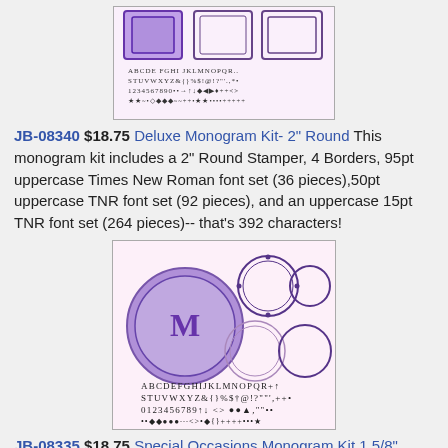[Figure (photo): Product image showing stamp frames and alphabet character set for monogram kit with decorative borders and letter/number stamps]
JB-08340 $18.75 Deluxe Monogram Kit- 2" Round This monogram kit includes a 2" Round Stamper, 4 Borders, 95pt uppercase Times New Roman font set (36 pieces),50pt uppercase TNR font set (92 pieces), and an uppercase 15pt TNR font set (264 pieces)-- that’s 392 characters!
[Figure (photo): Product image showing round stamp with purple imprint, decorative circular borders, and alphabet/number stamp characters for the 2" Round Monogram Kit]
JB-08335 $18.75 Special Occasions Monogram Kit 1 5/8" This monogram kit includes a 1 5/8" Wood Stamper, 2